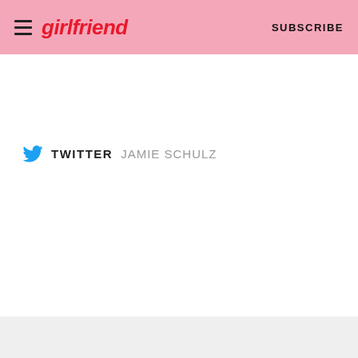girlfriend  SUBSCRIBE
TWITTER  JAMIE SCHULZ